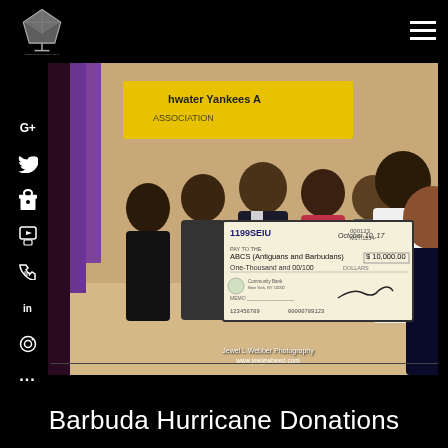[Figure (logo): Diamond/jewel logo on black background top left]
[Figure (photo): Group photo of seven people holding a large ceremonial check from 1199SEIU dated October 10, 2017 for $10,000.00 made out to ABCS (Antiguans and Barbudans). A yellow Freshwater Yankees banner is visible in the background. Photo credit: Jewel L Webber Photography www.jewjewbeed.com]
Barbuda Hurricane Donations